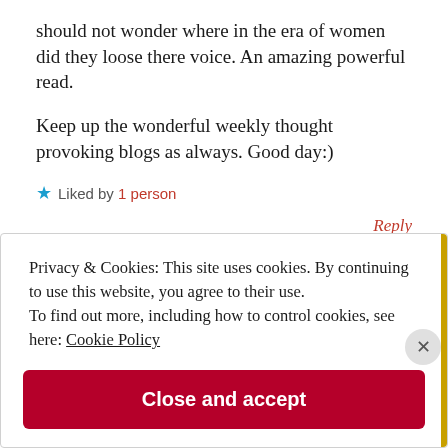should not wonder where in the era of women did they loose there voice. An amazing powerful read.
Keep up the wonderful weekly thought provoking blogs as always. Good day:)
★ Liked by 1 person
Reply
Privacy & Cookies: This site uses cookies. By continuing to use this website, you agree to their use. To find out more, including how to control cookies, see here: Cookie Policy
Close and accept